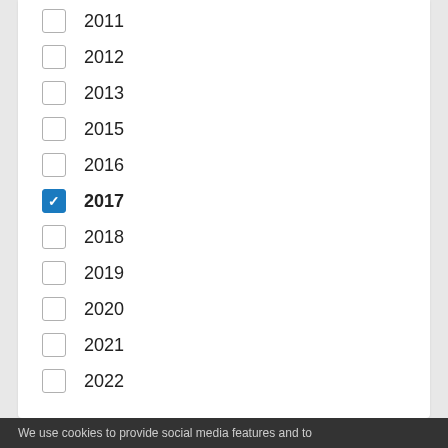2011
2012
2013
2015
2016
2017 (checked)
2018
2019
2020
2021
2022
Evidence and consultation
The King’s Fund response to the Mayor of London’s draft health inequalities strategy
We use cookies to provide social media features and to